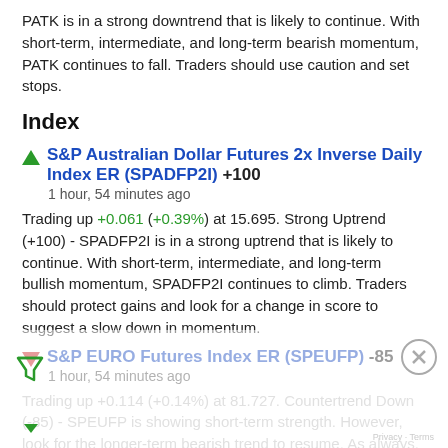PATK is in a strong downtrend that is likely to continue. With short-term, intermediate, and long-term bearish momentum, PATK continues to fall. Traders should use caution and set stops.
Index
S&P Australian Dollar Futures 2x Inverse Daily Index ER (SPADFP2I) +100
1 hour, 54 minutes ago
Trading up +0.061 (+0.39%) at 15.695. Strong Uptrend (+100) - SPADFP2I is in a strong uptrend that is likely to continue. With short-term, intermediate, and long-term bullish momentum, SPADFP2I continues to climb. Traders should protect gains and look for a change in score to suggest a slow down in momentum.
S&P EURO Futures Index ER (SPEUFP) -85
1 hour, 54 minutes ago
Trading up +0.114 (+0.14%) at 81.727. Countertrend Down (-85) - SPEUFP is showing short-term strength. However, look for the longer-term bearish trend to resume. As always, continue monitor the trend score and set stops.